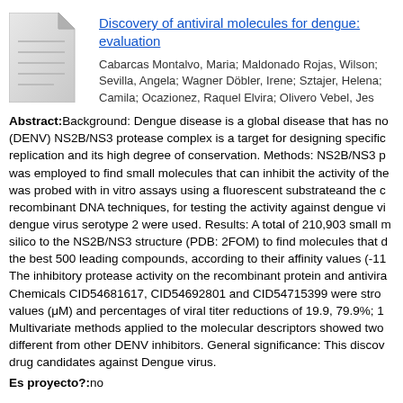Discovery of antiviral molecules for dengue: evaluation
Cabarcas Montalvo, Maria; Maldonado Rojas, Wilson; Sevilla, Angela; Wagner Döbler, Irene; Sztajer, Helena; Camila; Ocazionez, Raquel Elvira; Olivero Vebel, Jes
Abstract: Background: Dengue disease is a global disease that has no (DENV) NS2B/NS3 protease complex is a target for designing specific replication and its high degree of conservation. Methods: NS2B/NS3 p was employed to find small molecules that can inhibit the activity of the was probed with in vitro assays using a fluorescent substrateand the c recombinant DNA techniques, for testing the activity against dengue vi dengue virus serotype 2 were used. Results: A total of 210,903 small m silico to the NS2B/NS3 structure (PDB: 2FOM) to find molecules that d the best 500 leading compounds, according to their affinity values (-11 The inhibitory protease activity on the recombinant protein and antivira Chemicals CID54681617, CID54692801 and CID54715399 were stro values (μM) and percentages of viral titer reductions of 19.9, 79.9%; 1 Multivariate methods applied to the molecular descriptors showed two different from other DENV inhibitors. General significance: This discov drug candidates against Dengue virus.
Es proyecto?: no